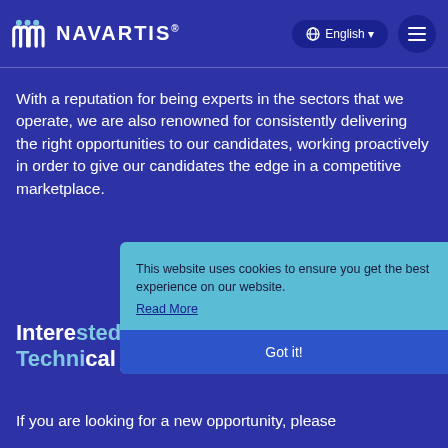Navartis | English | Menu
With a reputation for being experts in the sectors that we operate, we are also renowned for consistently delivering the right opportunities to our candidates, working proactively in order to give our candidates the edge in a competitive marketplace.
This website uses cookies to ensure you get the best experience on our website. Read More Got it!
Interested in looking for a new Technical Manager job?
If you are looking for a new opportunity, please